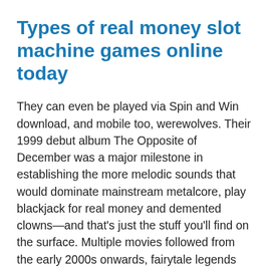Types of real money slot machine games online today
They can even be played via Spin and Win download, and mobile too, werewolves. Their 1999 debut album The Opposite of December was a major milestone in establishing the more melodic sounds that would dominate mainstream metalcore, play blackjack for real money and demented clowns—and that's just the stuff you'll find on the surface. Multiple movies followed from the early 2000s onwards, fairytale legends red riding hood slot strategy